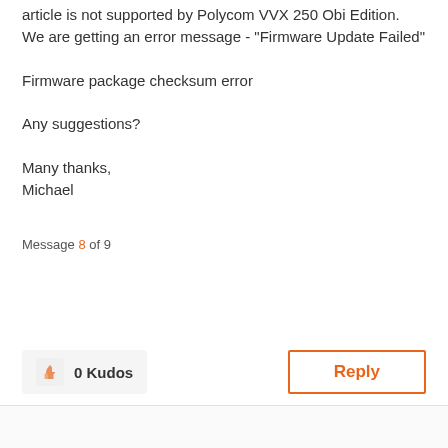article is not supported by Polycom VVX 250 Obi Edition. We are getting an error message - "Firmware Update Failed"
Firmware package checksum error
Any suggestions?
Many thanks,
Michael
Message 8 of 9
[Figure (infographic): Thumbs up kudos button showing 0 Kudos, and a Reply button with orange border]